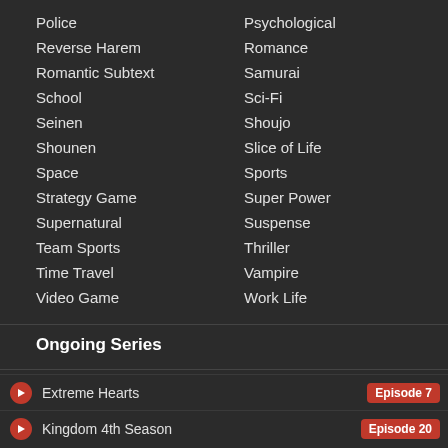Police
Psychological
Reverse Harem
Romance
Romantic Subtext
Samurai
School
Sci-Fi
Seinen
Shoujo
Shounen
Slice of Life
Space
Sports
Strategy Game
Super Power
Supernatural
Suspense
Team Sports
Thriller
Time Travel
Vampire
Video Game
Work Life
Ongoing Series
Extreme Hearts — Episode 7
Kingdom 4th Season — Episode 20